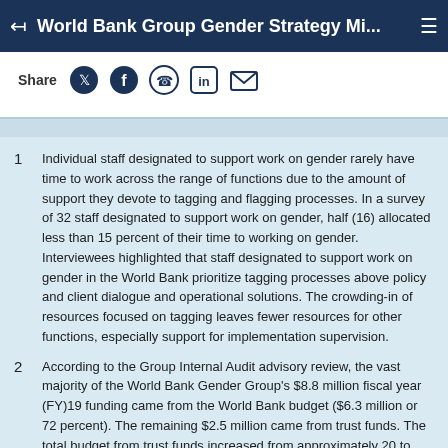World Bank Group Gender Strategy Mi...
Share
1  Individual staff designated to support work on gender rarely have time to work across the range of functions due to the amount of support they devote to tagging and flagging processes. In a survey of 32 staff designated to support work on gender, half (16) allocated less than 15 percent of their time to working on gender. Interviewees highlighted that staff designated to support work on gender in the World Bank prioritize tagging processes above policy and client dialogue and operational solutions. The crowding-in of resources focused on tagging leaves fewer resources for other functions, especially support for implementation supervision.
2  According to the Group Internal Audit advisory review, the vast majority of the World Bank Gender Group's $8.8 million fiscal year (FY)19 funding came from the World Bank budget ($6.3 million or 72 percent). The remaining $2.5 million came from trust funds. The total budget from trust funds increased from approximately 20 to